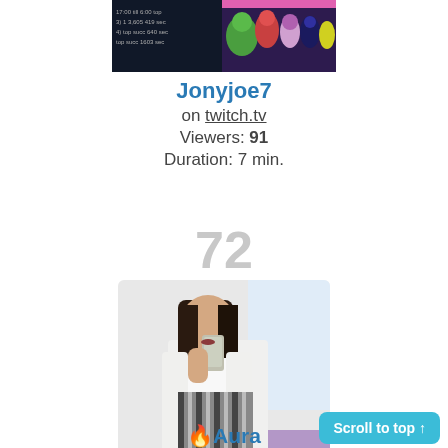[Figure (screenshot): Thumbnail image of Jonyjoe7 Twitch stream showing game/cartoon characters]
Jonyjoe7
on twitch.tv
Viewers: 91
Duration: 7 min.
72
[Figure (photo): Photo of a young woman taking a mirror selfie wearing white crop top and striped skirt]
🔥Aura
on bigo.tv
Scroll to top ↑